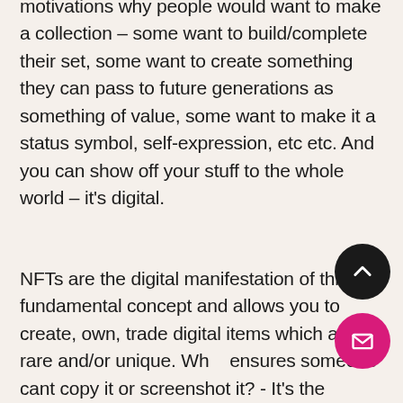motivations why people would want to make a collection – some want to build/complete their set, some want to create something they can pass to future generations as something of value, some want to make it a status symbol, self-expression, etc etc. And you can show off your stuff to the whole world – it's digital.
NFTs are the digital manifestation of this fundamental concept and allows you to create, own, trade digital items which are rare and/or unique. What ensures someone cant copy it or screenshot it? - It's the underlying blockchain they sit on! - the proof of ownership lies in the blockchain that powers the NFT. NFTs are also